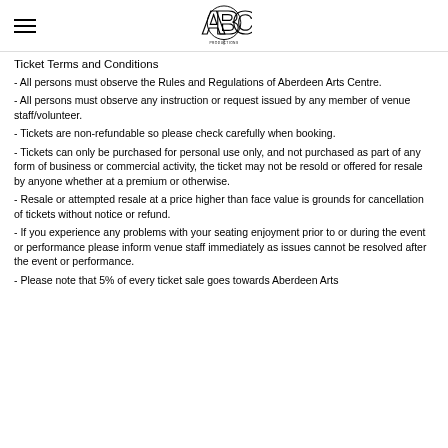ABC Productions logo and navigation
Ticket Terms and Conditions
- All persons must observe the Rules and Regulations of Aberdeen Arts Centre.
- All persons must observe any instruction or request issued by any member of venue staff/volunteer.
- Tickets are non-refundable so please check carefully when booking.
- Tickets can only be purchased for personal use only, and not purchased as part of any form of business or commercial activity, the ticket may not be resold or offered for resale by anyone whether at a premium or otherwise.
- Resale or attempted resale at a price higher than face value is grounds for cancellation of tickets without notice or refund.
- If you experience any problems with your seating enjoyment prior to or during the event or performance please inform venue staff immediately as issues cannot be resolved after the event or performance.
- Please note that 5% of every ticket sale goes towards Aberdeen Arts...